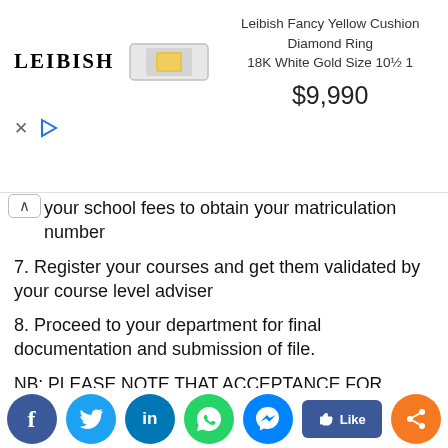[Figure (screenshot): Advertisement banner for Leibish Fancy Yellow Cushion Diamond Ring 18K White Gold Size 10½ 1, priced at $9,990, with a ring image and Leibish logo. Close (×) and play (▷) controls shown below.]
your school fees to obtain your matriculation number
7. Register your courses and get them validated by your course level adviser
8. Proceed to your department for final documentation and submission of file.
NB: PLEASE NOTE THAT ACCEPTANCE FOR DELTANS IS ₦10,750 AND NON-DELTANS IS ₦20,750
Having Questions? Leave a comment and we will attend to it. Share this post to your friends on ... ps below
[Figure (screenshot): Social media sharing buttons: Facebook, Twitter, LinkedIn, WhatsApp, Messenger, Like, Share]